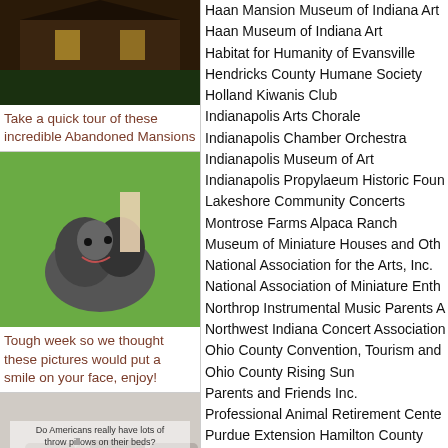[Figure (photo): Abandoned mansion at night with lit windows]
Take a quick tour of these incredible Abandoned Mansions
[Figure (photo): Puppy being pet on grass, smiling]
Tough week so we thought these pictures would put a smile on your face, enjoy!
[Figure (photo): Bed with many throw pillows, text overlay: Do Americans really have lots of throw pillows on their beds?]
Real questions that people from other countries ask about Americans
Haan Mansion Museum of Indiana Art
Haan Museum of Indiana Art
Habitat for Humanity of Evansville
Hendricks County Humane Society
Holland Kiwanis Club
Indianapolis Arts Chorale
Indianapolis Chamber Orchestra
Indianapolis Museum of Art
Indianapolis Propylaeum Historic Foundation
Lakeshore Community Concerts
Montrose Farms Alpaca Ranch
Museum of Miniature Houses and Other Collections
National Association for the Arts, Inc.
National Association of Miniature Enthusiasts
Northrop Instrumental Music Parents Association
Northwest Indiana Concert Association
Ohio County Convention, Tourism and Visitors Commission
Ohio County Rising Sun
Parents and Friends Inc.
Professional Animal Retirement Center
Purdue Extension Hamilton County
Robert and Ellen Haan Museum of Indiana Art
Rocky Ripple Community Association
South Shore Chamber Orchestra
Spencer Pride